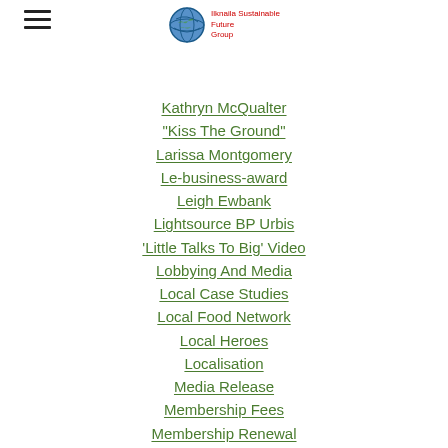Ilknaila Sustainable Future Group
Kathryn McQualter
"Kiss The Ground"
Larissa Montgomery
Le-business-award
Leigh Ewbank
Lightsource BP Urbis
'Little Talks To Big' Video
Lobbying And Media
Local Case Studies
Local Food Network
Local Heroes
Localisation
Media Release
Membership Fees
Membership Renewal
Mokoan Wetlands
Mondo Energy
Naomi Klein Film
Neil Garrett
NE Local Food Strategy 2018-2022
Neoen Energy
'NERSA'